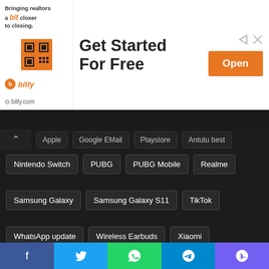[Figure (screenshot): Bitly advertisement banner with logo, QR code, 'Get Started For Free' text, and orange 'Open' button. bitly.com URL shown at bottom left of ad.]
Nintendo Switch | PUBG | PUBG Mobile | Realme
Samsung Galaxy | Samsung Galaxy S11 | TikTok
WhatsApp update | Wireless Earbuds | Xiaomi
Follow us
From the success of Maths Formulas app, Physics Formulas has been developed and released to help users quickly refe… https://t.co/ihLVrMQSrY
2019/08/04
KineMaster is a full-featured video editor for Android. KineMaster has